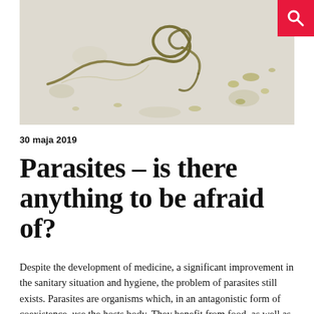[Figure (photo): Microscope image of a coiled parasitic worm/nematode larva on a light beige background with yellow-green debris particles]
30 maja 2019
Parasites – is there anything to be afraid of?
Despite the development of medicine, a significant improvement in the sanitary situation and hygiene, the problem of parasites still exists. Parasites are organisms which, in an antagonistic form of coexistence, use the hosts body. They benefit from food, as well as the environment in which they can survive and reproduce, while harming the